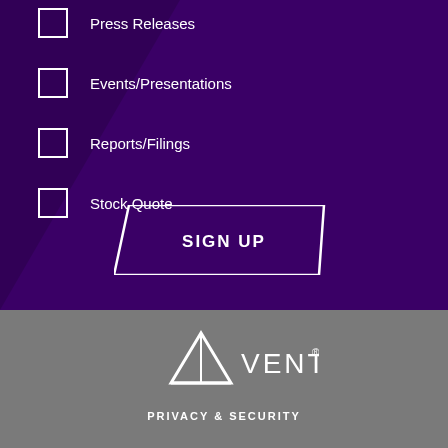Press Releases
Events/Presentations
Reports/Filings
Stock Quote
SIGN UP
[Figure (logo): Ventas logo with triangle/arrow icon and VENTAS text with registered trademark symbol]
PRIVACY & SECURITY